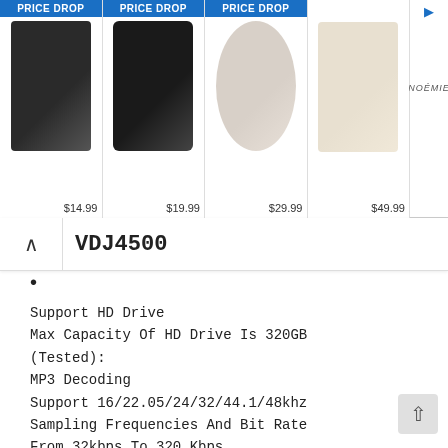[Figure (screenshot): Advertisement banner showing four products with PRICE DROP badges: leather keychain ($14.99), AirPods case ($19.99), round pouch ($29.99), phone case ($49.99). Brand NOEMIE shown on the right side with a blue arrow icon.]
VDJ4500
•
Support HD Drive
Max Capacity Of HD Drive Is 320GB
(Tested):
MP3 Decoding
Support 16/22.05/24/32/44.1/48khz
Sampling Frequencies And Bit Rate
From 32kbps To 320 Kbps.
Disc Type: Standard Compact Disc
(12CM & 8 CM)
Bass (Channel 1-2): +/-12dB
Frequency Responds: 20HZ-20KHZ
Distortion :S/N Ration >80 dB
EQ Control (3 Bands) +/- 12db